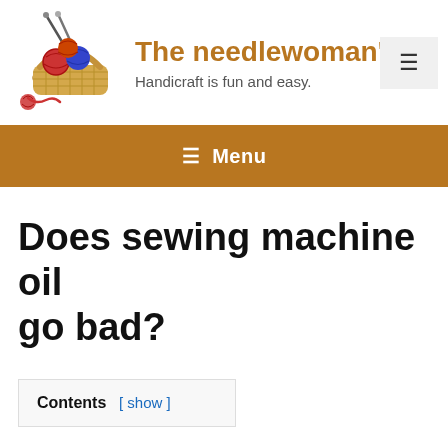[Figure (illustration): Logo of a wicker basket filled with colorful yarn balls and knitting needles]
The needlewoman's d
Handicraft is fun and easy.
≡ (hamburger menu icon button)
≡  Menu
Does sewing machine oil go bad?
Contents  [ show ]